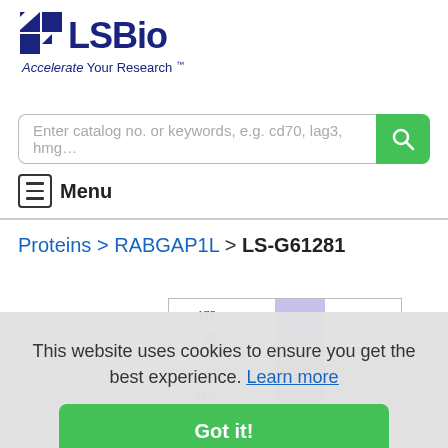[Figure (logo): LSBio logo with blue shield/grid icon, text 'LSBio' in dark navy, tagline 'Accelerate Your Research™']
[Figure (screenshot): Search bar with placeholder text 'Enter catalog no. or keywords, e.g. cd70, lag3, hmg...' and green search button]
Menu
Proteins > RABGAP1L > LS-G61281
[Figure (other): Partial western blot image showing molecular weight markers at 175, 83, 62, 47.5, 32.5, and additional lower bands with a purple/blue band column overlay]
This website uses cookies to ensure you get the best experience. Learn more
Got it!